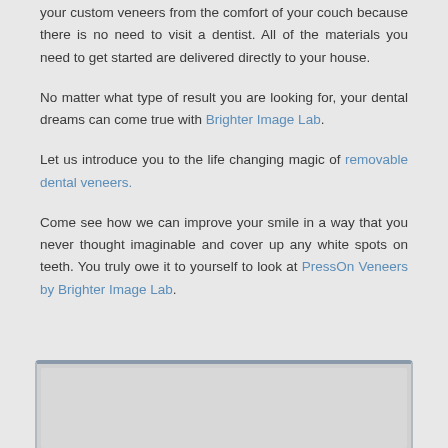your custom veneers from the comfort of your couch because there is no need to visit a dentist. All of the materials you need to get started are delivered directly to your house.
No matter what type of result you are looking for, your dental dreams can come true with Brighter Image Lab.
Let us introduce you to the life changing magic of removable dental veneers.
Come see how we can improve your smile in a way that you never thought imaginable and cover up any white spots on teeth. You truly owe it to yourself to look at PressOn Veneers by Brighter Image Lab.
[Figure (other): Embedded video player box with gray background and dark gray top border, partially visible at bottom of page]